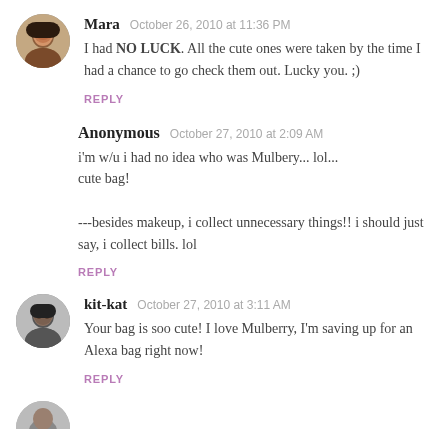Mara  October 26, 2010 at 11:36 PM
I had NO LUCK. All the cute ones were taken by the time I had a chance to go check them out. Lucky you. ;)
REPLY
Anonymous  October 27, 2010 at 2:09 AM
i'm w/u i had no idea who was Mulbery... lol... cute bag!

---besides makeup, i collect unnecessary things!! i should just say, i collect bills. lol
REPLY
kit-kat  October 27, 2010 at 3:11 AM
Your bag is soo cute! I love Mulberry, I'm saving up for an Alexa bag right now!
REPLY